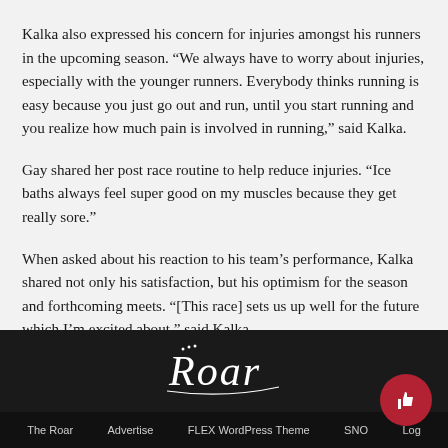Kalka also expressed his concern for injuries amongst his runners in the upcoming season. “We always have to worry about injuries, especially with the younger runners. Everybody thinks running is easy because you just go out and run, until you start running and you realize how much pain is involved in running,” said Kalka.
Gay shared her post race routine to help reduce injuries. “Ice baths always feel super good on my muscles because they get really sore.”
When asked about his reaction to his team’s performance, Kalka shared not only his satisfaction, but his optimism for the season and forthcoming meets. “[This race] sets us up well for the future which I’m excited about,” said Kalka.
[Figure (logo): Roar script logo in white on dark background]
The Roar    Advertise    FLEX WordPress Theme    SNO    Log